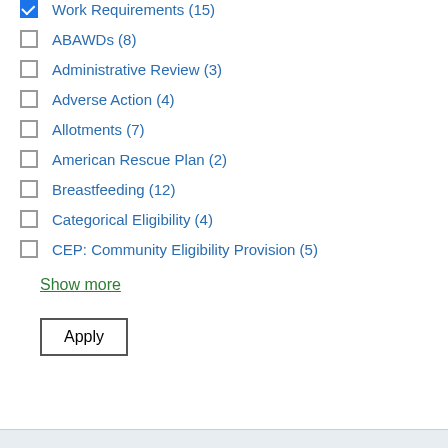Work Requirements (15)
ABAWDs (8)
Administrative Review (3)
Adverse Action (4)
Allotments (7)
American Rescue Plan (2)
Breastfeeding (12)
Categorical Eligibility (4)
CEP: Community Eligibility Provision (5)
Show more
Apply